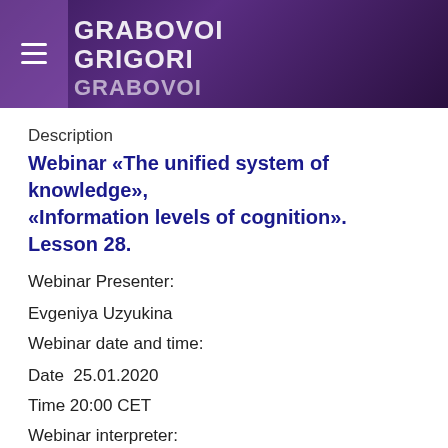GRABOVOI GRIGORI GRABOVOI
Description
Webinar «The unified system of knowledge», «Information levels of cognition». Lesson 28.
Webinar Presenter:
Evgeniya Uzyukina
Webinar date and time:
Date  25.01.2020
Time 20:00 CET
Webinar interpreter:
Delia Dykes